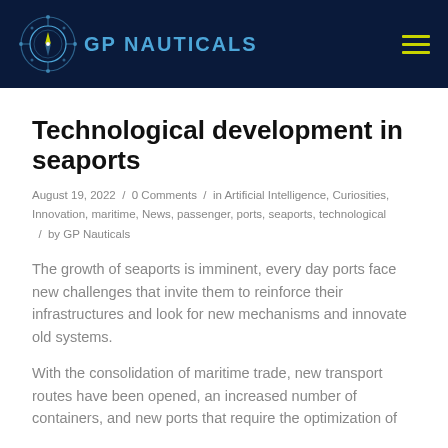GP NAUTICALS
Technological development in seaports
August 19, 2022 / 0 Comments / in Artificial Intelligence, Curiosities, Innovation, maritime, News, passenger, ports, seaports, technological / by GP Nauticals
The growth of seaports is imminent, every day ports face new challenges that invite them to reinforce their infrastructures and look for new mechanisms and innovate old systems.
With the consolidation of maritime trade, new transport routes have been opened, an increased number of containers, and new ports that require the optimization of